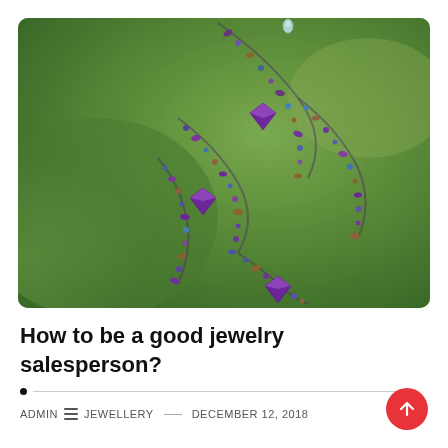[Figure (photo): Close-up macro photograph of decorative beaded jewelry with purple, blue, and gold beads arranged in curved strands against a green bokeh background]
How to be a good jewelry salesperson?
ADMIN  ≡ JEWELLERY  —  DECEMBER 12, 2018